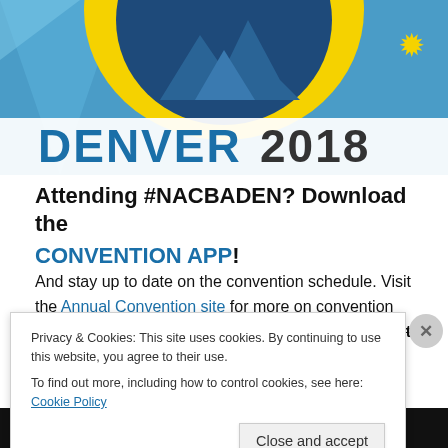[Figure (illustration): Denver 2018 convention banner with blue background, yellow arc, dark circular logo, mountain silhouette, and white strip showing 'DENVER 2018' text in blue and dark colors]
Attending #NACBADEN? Download the CONVENTION APP!
And stay up to date on the convention schedule. Visit the Annual Convention site for more on convention speakers, pre-convention sessions and more! Register
Privacy & Cookies: This site uses cookies. By continuing to use this website, you agree to their use.
To find out more, including how to control cookies, see here: Cookie Policy
Close and accept
[Figure (infographic): Bottom advertisement bar showing browsing offer for $4.99 a month]